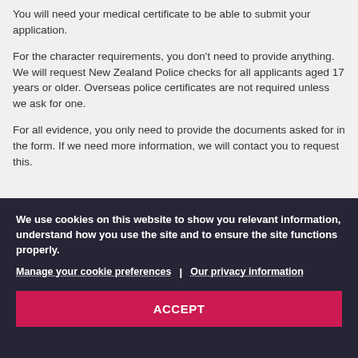You will need your medical certificate to be able to submit your application.
For the character requirements, you don't need to provide anything. We will request New Zealand Police checks for all applicants aged 17 years or older. Overseas police certificates are not required unless we ask for one.
For all evidence, you only need to provide the documents asked for in the form. If we need more information, we will contact you to request this.
We use cookies on this website to show you relevant information, understand how you use the site and to ensure the site functions properly.
Manage your cookie preferences | Our privacy information
ACCEPT